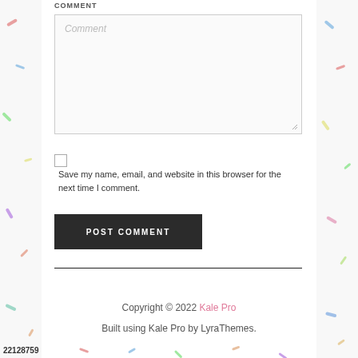COMMENT
[Figure (screenshot): Comment textarea input field with placeholder text 'Comment' and a resize handle at bottom right]
Save my name, email, and website in this browser for the next time I comment.
POST COMMENT
Copyright © 2022 Kale Pro
Built using Kale Pro by LyraThemes.
22128759